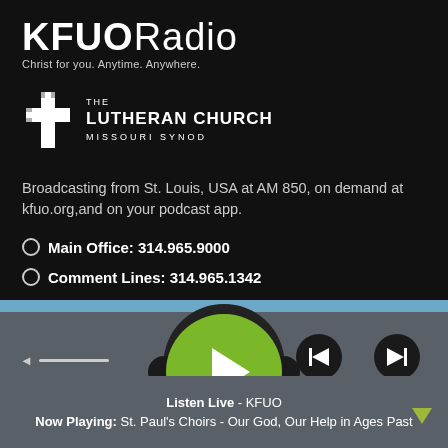KFUORadio
Christ for you. Anytime. Anywhere.
[Figure (logo): The Lutheran Church Missouri Synod cross logo with text]
Broadcasting from St. Louis, USA at AM 850, on demand at kfuo.org,and on your podcast app.
Main Office: 314.965.9000
Comment Lines: 314.965.1342
[Figure (screenshot): Media player controls with previous, play and next buttons]
Listen Live - KFUO
Now Playing: St. Paul's Choirs - Our God, Our Help in Ages Past